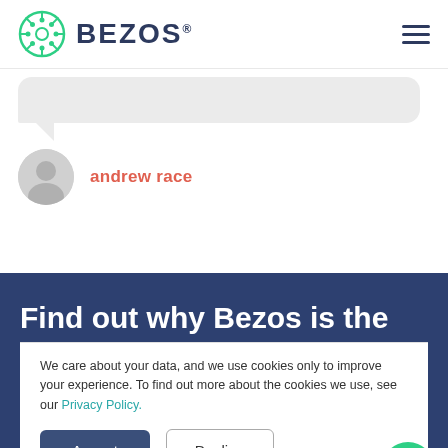[Figure (logo): Bezos logo with circular snowflake icon and BEZOS text in dark navy]
[Figure (screenshot): Speech bubble chat area with light grey background]
andrew race
Find out why Bezos is the
We care about your data, and we use cookies only to improve your experience. To find out more about the cookies we use, see our Privacy Policy.
Accept
Decline